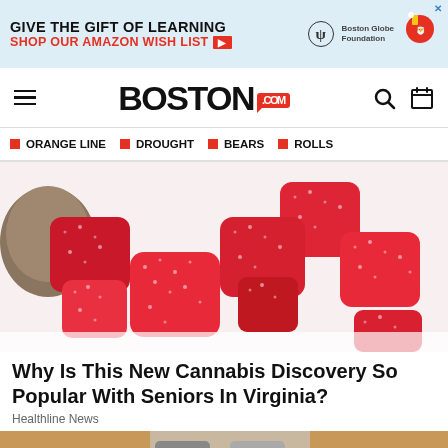[Figure (screenshot): Advertisement banner: GIVE THE GIFT OF LEARNING / SHOP OUR AMAZON WISH LIST with Boston Globe Foundation logo and santa illustration]
[Figure (logo): Boston.com navigation bar with hamburger menu, Boston.com logo in red speech bubble, search and calendar icons]
ORANGE LINE  DROUGHT  BEARS  ROLLS
[Figure (photo): Red sugary gummy candy pieces spilling out of a tin container on a white background]
Why Is This New Cannabis Discovery So Popular With Seniors In Virginia?
Healthline News
[Figure (photo): Person wearing sandals with ankle bracelet, partial lower body photo]